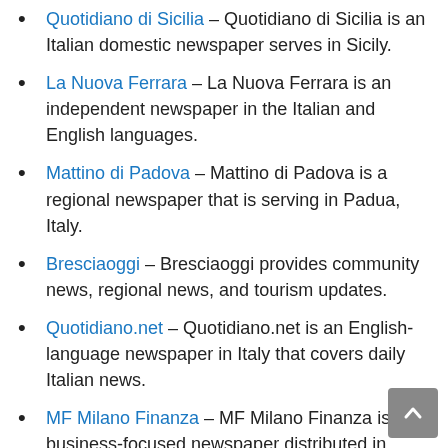Quotidiano di Sicilia – Quotidiano di Sicilia is an Italian domestic newspaper serves in Sicily.
La Nuova Ferrara – La Nuova Ferrara is an independent newspaper in the Italian and English languages.
Mattino di Padova – Mattino di Padova is a regional newspaper that is serving in Padua, Italy.
Bresciaoggi – Bresciaoggi provides community news, regional news, and tourism updates.
Quotidiano.net – Quotidiano.net is an English-language newspaper in Italy that covers daily Italian news.
MF Milano Finanza – MF Milano Finanza is a business-focused newspaper distributed in Milan.